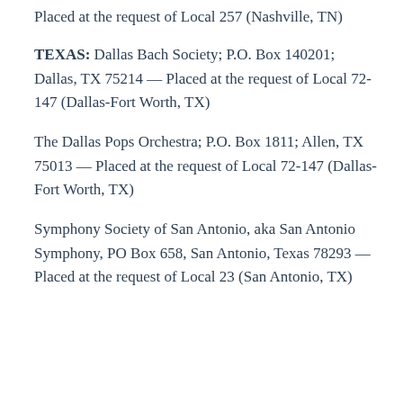Placed at the request of Local 257 (Nashville, TN)
TEXAS: Dallas Bach Society; P.O. Box 140201; Dallas, TX 75214 — Placed at the request of Local 72-147 (Dallas-Fort Worth, TX)
The Dallas Pops Orchestra; P.O. Box 1811; Allen, TX 75013 — Placed at the request of Local 72-147 (Dallas-Fort Worth, TX)
Symphony Society of San Antonio, aka San Antonio Symphony, PO Box 658, San Antonio, Texas 78293 — Placed at the request of Local 23 (San Antonio, TX)